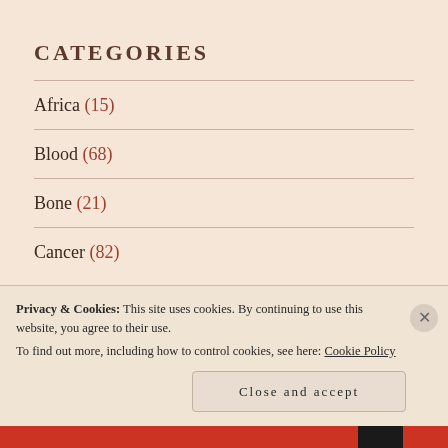CATEGORIES
Africa (15)
Blood (68)
Bone (21)
Cancer (82)
Health (46)
Chemotherapy (52)
diabmic (...)
Privacy & Cookies: This site uses cookies. By continuing to use this website, you agree to their use.
To find out more, including how to control cookies, see here: Cookie Policy
Close and accept